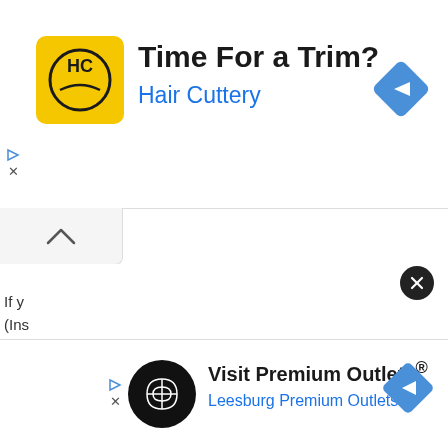[Figure (screenshot): Top advertisement banner for Hair Cuttery with yellow HC logo, text 'Time For a Trim?' and 'Hair Cuttery' in blue, plus navigation arrow diamond icon on the right. Play and X controls on the left.]
[Figure (screenshot): UI chevron/caret tab button below the top ad banner, pointing upward.]
If y...
(Ins...
[Figure (screenshot): Bottom advertisement banner for Leesburg Premium Outlets with black circular logo, text 'Visit Premium Outlets®' and 'Leesburg Premium Outlets' in blue, navigation arrow, and close X button.]